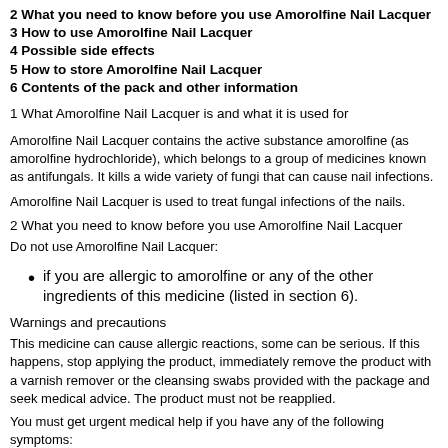2 What you need to know before you use Amorolfine Nail Lacquer
3 How to use Amorolfine Nail Lacquer
4 Possible side effects
5 How to store Amorolfine Nail Lacquer
6 Contents of the pack and other information
1 What Amorolfine Nail Lacquer is and what it is used for
Amorolfine Nail Lacquer contains the active substance amorolfine (as amorolfine hydrochloride), which belongs to a group of medicines known as antifungals. It kills a wide variety of fungi that can cause nail infections.
Amorolfine Nail Lacquer is used to treat fungal infections of the nails.
2 What you need to know before you use Amorolfine Nail Lacquer
Do not use Amorolfine Nail Lacquer:
if you are allergic to amorolfine or any of the other ingredients of this medicine (listed in section 6).
Warnings and precautions
This medicine can cause allergic reactions, some can be serious. If this happens, stop applying the product, immediately remove the product with a varnish remover or the cleansing swabs provided with the package and seek medical advice. The product must not be reapplied.
You must get urgent medical help if you have any of the following symptoms:
You have difficulty breathing